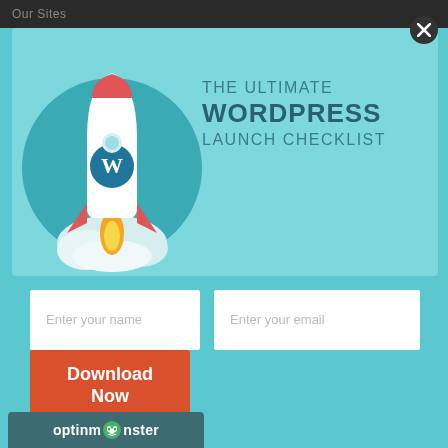Our Sites
[Figure (illustration): Popup modal with teal background showing a rocket ship with WordPress logo launching upward, with the text 'THE ULTIMATE WORDPRESS LAUNCH CHECKLIST']
Enter your name
Enter your email
Download Now
[Figure (logo): OptinMonster logo on dark teal bar at the bottom]